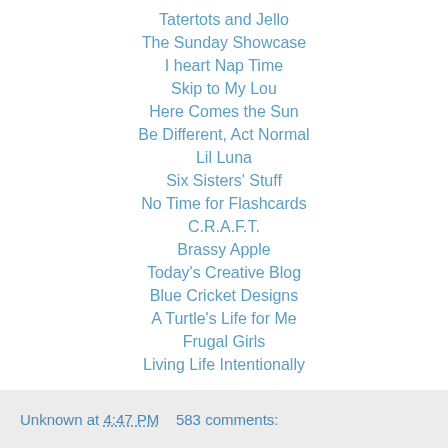Tatertots and Jello
The Sunday Showcase
I heart Nap Time
Skip to My Lou
Here Comes the Sun
Be Different, Act Normal
Lil Luna
Six Sisters' Stuff
No Time for Flashcards
C.R.A.F.T.
Brassy Apple
Today's Creative Blog
Blue Cricket Designs
A Turtle's Life for Me
Frugal Girls
Living Life Intentionally
Unknown at 4:47 PM    583 comments: